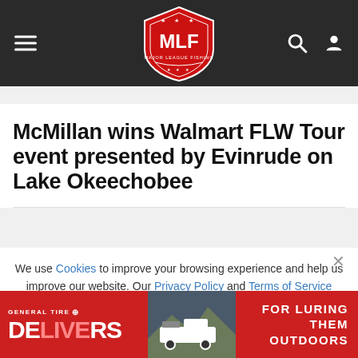MLF Major League Fishing navigation header
McMillan wins Walmart FLW Tour event presented by Evinrude on Lake Okeechobee
We use Cookies to improve your browsing experience and help us improve our website. Our Privacy Policy and Terms of Service have changed. Click OK to agree.
[Figure (other): OK button and cookie consent dialog close button]
[Figure (other): General Tire Delivers advertisement banner - FOR LURING THEM OUTDOORS]